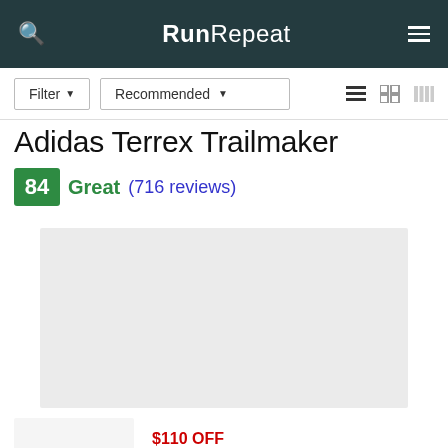RunRepeat
Filter ▾   Recommended ▾
Adidas Terrex Trailmaker
84  Great (716 reviews)
[Figure (photo): Product image placeholder - light grey rectangle]
[Figure (photo): Second product image placeholder - light grey rectangle]
$110 OFF